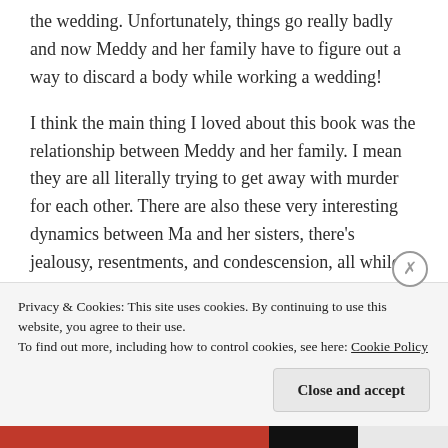the wedding. Unfortunately, things go really badly and now Meddy and her family have to figure out a way to discard a body while working a wedding!
I think the main thing I loved about this book was the relationship between Meddy and her family. I mean they are all literally trying to get away with murder for each other. There are also these very interesting dynamics between Ma and her sisters, there's jealousy, resentments, and condescension, all while still truly loving and protecting each other
Privacy & Cookies: This site uses cookies. By continuing to use this website, you agree to their use.
To find out more, including how to control cookies, see here: Cookie Policy
Close and accept